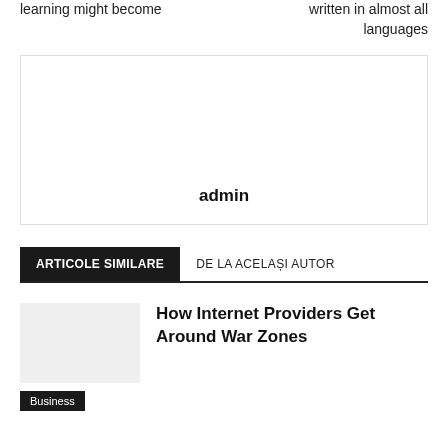learning might become
written in almost all languages
[Figure (other): Author profile box with name 'admin' centered at bottom]
admin
ARTICOLE SIMILARE
DE LA ACELAȘI AUTOR
[Figure (other): Thumbnail image placeholder for article]
How Internet Providers Get Around War Zones
Business